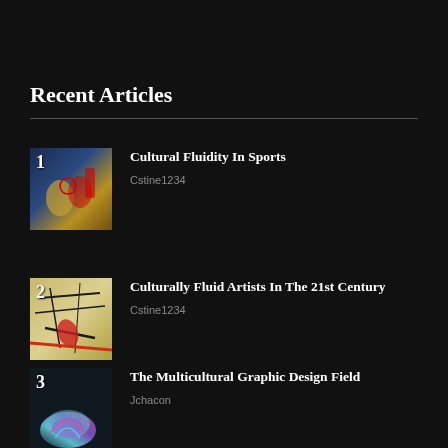Recent Articles
[Figure (photo): Basketball players in action, one wearing Lakers yellow jersey, numbered 1]
Cultural Fluidity In Sports
Cstine1234
[Figure (photo): Abstract expressionist artwork with dark lines on tan/ochre background, numbered 2]
Culturally Fluid Artists In The 21st Century
Cstine1234
[Figure (photo): 3D rendered abstract shape with blue and purple gradient tones, numbered 3]
The Multicultural Graphic Design Field
Jchacon